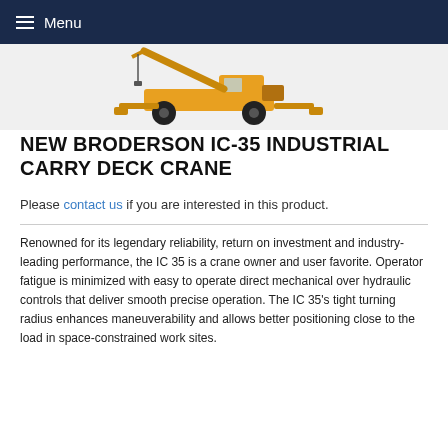Menu
[Figure (illustration): Broderson IC-35 industrial carry deck crane shown from the side, yellow/orange colored machine with wheels and boom arm]
NEW BRODERSON IC-35 INDUSTRIAL CARRY DECK CRANE
Please contact us if you are interested in this product.
Renowned for its legendary reliability, return on investment and industry-leading performance, the IC 35 is a crane owner and user favorite. Operator fatigue is minimized with easy to operate direct mechanical over hydraulic controls that deliver smooth precise operation. The IC 35's tight turning radius enhances maneuverability and allows better positioning close to the load in space-constrained work sites.